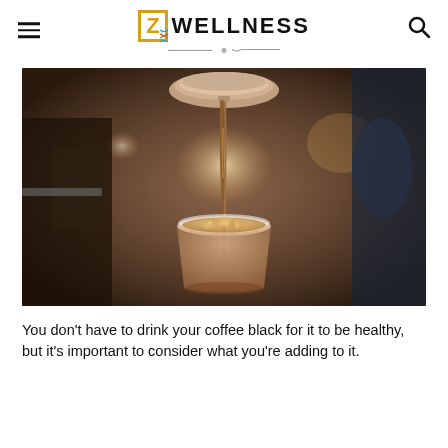[Z] WELLNESS
[Figure (photo): Close-up photo of espresso or coffee being poured from a machine spout into a paper takeaway cup, with a warm bokeh background inside a café.]
You don't have to drink your coffee black for it to be healthy, but it's important to consider what you're adding to it.